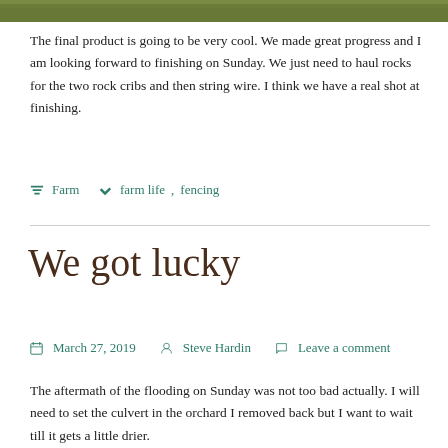[Figure (photo): Partial view of a green grassy outdoor scene, cropped at top of page]
The final product is going to be very cool. We made great progress and I am looking forward to finishing on Sunday. We just need to haul rocks for the two rock cribs and then string wire. I think we have a real shot at finishing.
Farm  farm life, fencing
We got lucky
March 27, 2019  Steve Hardin  Leave a comment
The aftermath of the flooding on Sunday was not too bad actually. I will need to set the culvert in the orchard I removed back but I want to wait till it gets a little drier.